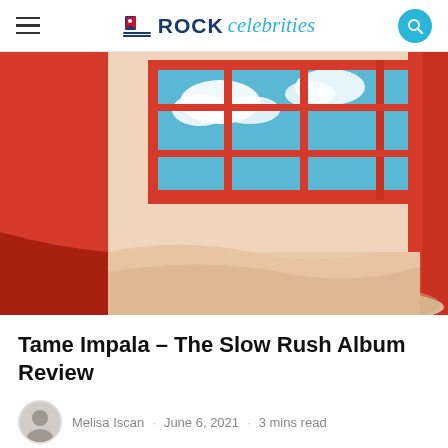ROCK celebrities
[Figure (photo): Album cover art for Tame Impala's The Slow Rush — a red-framed window with sandy floor, desert sand drifting inside, blue sky with clouds visible through the glass panes]
Tame Impala – The Slow Rush Album Review
Melisa Iscan  June 6, 2021  3 mins read